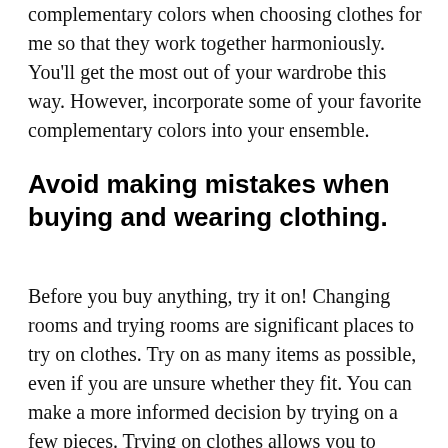complementary colors when choosing clothes for me so that they work together harmoniously. You'll get the most out of your wardrobe this way. However, incorporate some of your favorite complementary colors into your ensemble.
Avoid making mistakes when buying and wearing clothing.
Before you buy anything, try it on! Changing rooms and trying rooms are significant places to try on clothes. Try on as many items as possible, even if you are unsure whether they fit. You can make a more informed decision by trying on a few pieces. Trying on clothes allows you to assess what they look like on you. Once you know whether they fit correctly you can buy them.